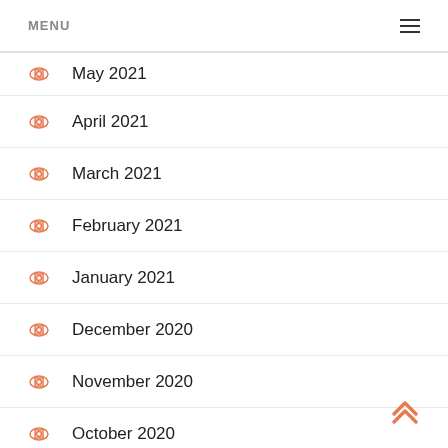MENU
May 2021
April 2021
March 2021
February 2021
January 2021
December 2020
November 2020
October 2020
September 2020